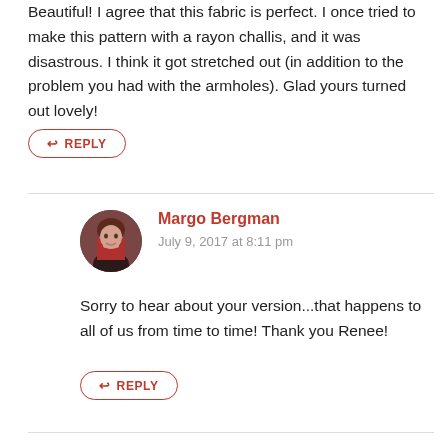Beautiful! I agree that this fabric is perfect. I once tried to make this pattern with a rayon challis, and it was disastrous. I think it got stretched out (in addition to the problem you had with the armholes). Glad yours turned out lovely!
REPLY
Margo Bergman
July 9, 2017 at 8:11 pm
Sorry to hear about your version...that happens to all of us from time to time! Thank you Renee!
REPLY